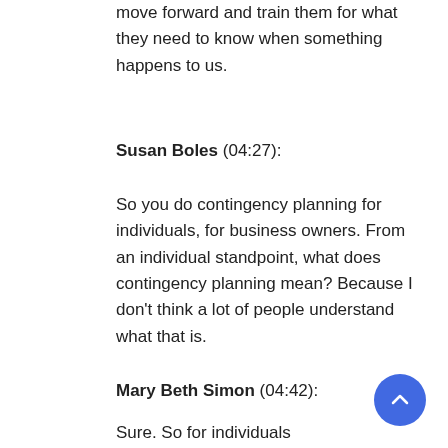move forward and train them for what they need to know when something happens to us.
Susan Boles (04:27):
So you do contingency planning for individuals, for business owners. From an individual standpoint, what does contingency planning mean? Because I don't think a lot of people understand what that is.
Mary Beth Simon (04:42):
Sure. So for individuals